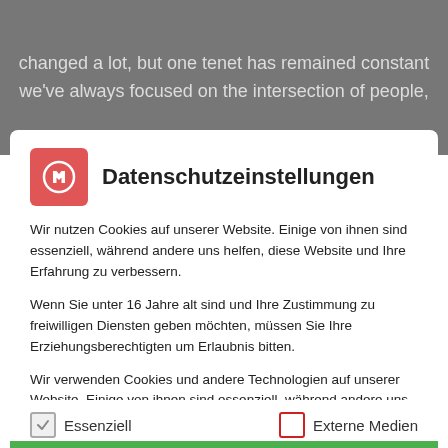changed a lot, but one tenet has remained constant we've always focused on the intersection of people,
Datenschutzeinstellungen
Wir nutzen Cookies auf unserer Website. Einige von ihnen sind essenziell, während andere uns helfen, diese Website und Ihre Erfahrung zu verbessern.
Wenn Sie unter 16 Jahre alt sind und Ihre Zustimmung zu freiwilligen Diensten geben möchten, müssen Sie Ihre Erziehungsberechtigten um Erlaubnis bitten.
Wir verwenden Cookies und andere Technologien auf unserer Website. Einige von ihnen sind essenziell, während andere uns helfen, diese Website und Ihre Erfahrung zu verbessern. Personenbezogene Daten können verarbeitet werden (z. B. IP-Adressen), z. B. für personalisierte Anzeigen und Inhalte oder
Essenziell
Externe Medien